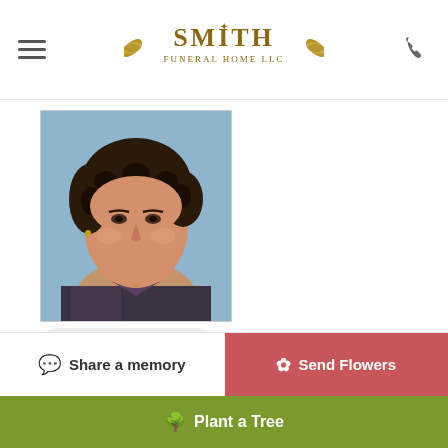Smith Funeral Home LLC
[Figure (photo): Portrait photo of an elderly woman with dark curly hair, wearing a patterned jacket, against a blue background]
Add Photos
Upload up to 10 images at a time, max 8MB each
Share a memory
Send Flowers
Plant a Tree